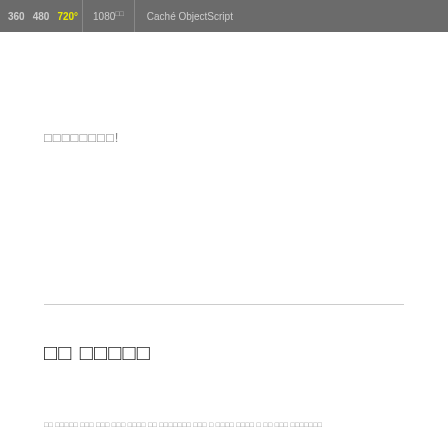[Figure (screenshot): Top bar showing resolution numbers 360, 480, 720° highlighted in yellow, 1080° with superscript, and label 'Caché ObjectScript' on dark grey background]
□□□□□□□□!
□□ □□□□□
□□ □□□□□ □□□ □□□ □□□ □□□□ □□ □□□□□□□ □□□ □ □□□□ □□□□ □ □□ □□□ □□□□□□□